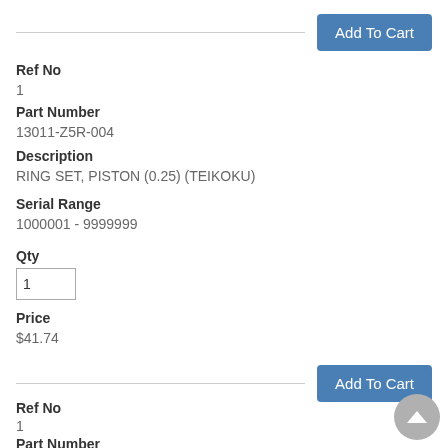Add To Cart
Ref No
1
Part Number
13011-Z5R-004
Description
RING SET, PISTON (0.25) (TEIKOKU)
Serial Range
1000001 - 9999999
Qty
Price
$41.74
Add To Cart
Ref No
1
Part Number